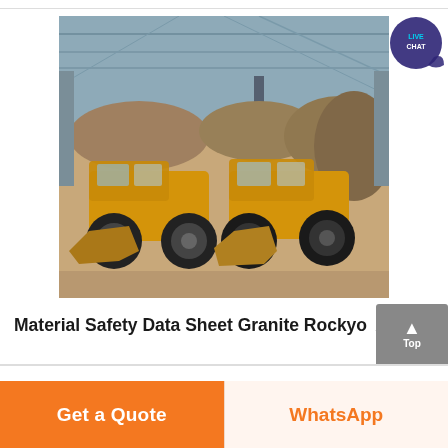[Figure (photo): Interior of a large warehouse/factory building with steel roof structure. Two yellow front-end loaders/wheel loaders parked in the foreground on sandy/gravel floor. Large piles of crushed granite rock/gravel in the background.]
Material Safety Data Sheet Granite Rockyo... u...
Get a Quote
WhatsApp